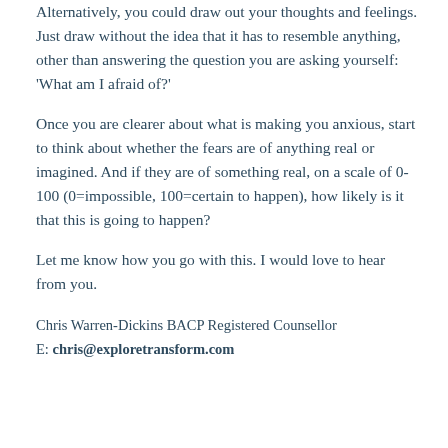Alternatively, you could draw out your thoughts and feelings. Just draw without the idea that it has to resemble anything, other than answering the question you are asking yourself: 'What am I afraid of?'
Once you are clearer about what is making you anxious, start to think about whether the fears are of anything real or imagined. And if they are of something real, on a scale of 0-100 (0=impossible, 100=certain to happen), how likely is it that this is going to happen?
Let me know how you go with this. I would love to hear from you.
Chris Warren-Dickins BACP Registered Counsellor E: chris@exploretransform.com